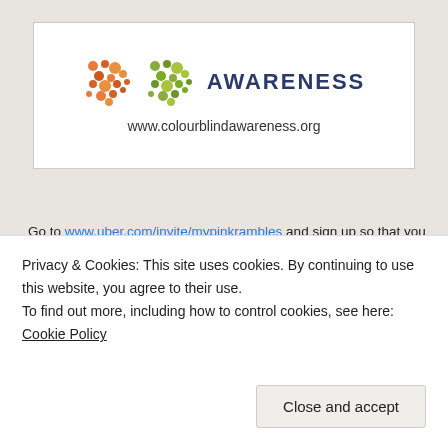[Figure (logo): Colour Blind Awareness logo with dot clusters and text, URL: www.colourblindawareness.org]
Go to www.uber.com/invite/mypinkrambles and sign up so that you get a free ride up to £15 free Uber ride! Use the promo code: MYPINKRAMBLES Only for the UK
[Figure (photo): Photo of smiling blonde woman on a street, with teal geometric pattern panel on the right]
Privacy & Cookies: This site uses cookies. By continuing to use this website, you agree to their use.
To find out more, including how to control cookies, see here: Cookie Policy
Close and accept